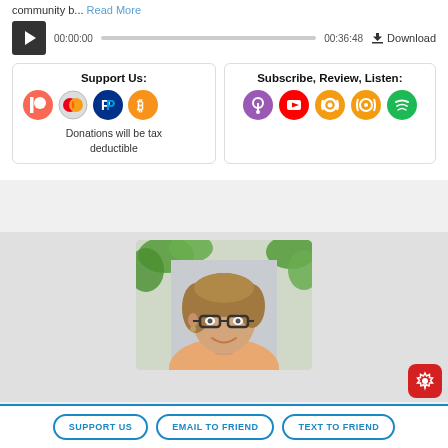community b... Read More
[Figure (screenshot): Audio player bar with play button, timestamp 00:00:00, progress bar, end time 00:36:48, and Download button]
[Figure (infographic): Support Us box with Patreon, Mastercard, PayPal, Bitcoin icons and text 'Donations will be tax deductible']
[Figure (infographic): Subscribe, Review, Listen box with Apple Podcasts, YouTube, Podchaser, and Spotify icons]
[Figure (photo): Photo of a woman with short brown hair and glasses, smiling, with green plants in background]
[Figure (screenshot): Red gear/settings icon button in bottom right corner]
SUPPORT US | EMAIL TO FRIEND | TEXT TO FRIEND